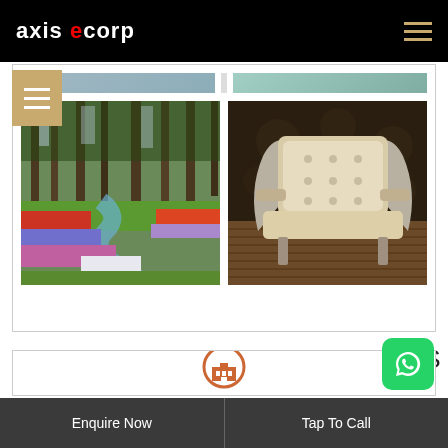axis ecorp
[Figure (photo): Garden photo showing colorful tulip and flower beds with trees and a pond path]
[Figure (photo): Ornate silver and cream upholstered luxury armchair on wooden floor with decorative dark background]
MAHARERA CERTIFICATES
[Figure (logo): Building/real estate icon in orange circle at top of certificates section]
[Figure (logo): WhatsApp logo button (green rounded square)]
Enquire Now   Tap To Call